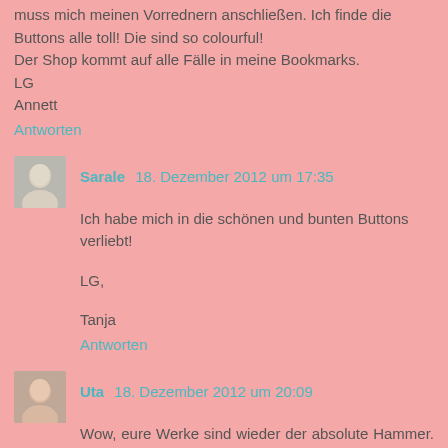muss mich meinen Vorrednern anschließen. Ich finde die Buttons alle toll! Die sind so colourful!
Der Shop kommt auf alle Fälle in meine Bookmarks.
LG
Annett
Antworten
Sarale  18. Dezember 2012 um 17:35
Ich habe mich in die schönen und bunten Buttons verliebt!

LG,

Tanja
Antworten
Uta  18. Dezember 2012 um 20:09
Wow, eure Werke sind wieder der absolute Hammer. Super! Die Buttons sind ja toll. Die muss ich mir unbedingt merken.